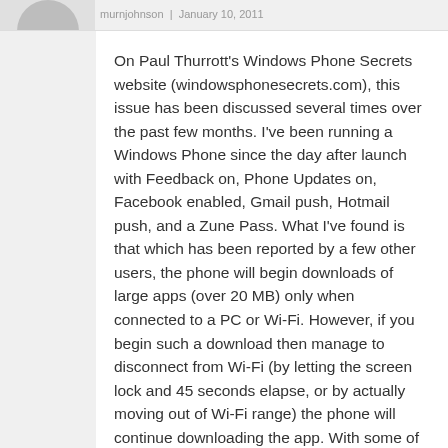murnjohnson | January 10, 2011
On Paul Thurrott's Windows Phone Secrets website (windowsphonesecrets.com), this issue has been discussed several times over the past few months. I've been running a Windows Phone since the day after launch with Feedback on, Phone Updates on, Facebook enabled, Gmail push, Hotmail push, and a Zune Pass. What I've found is that which has been reported by a few other users, the phone will begin downloads of large apps (over 20 MB) only when connected to a PC or Wi-Fi. However, if you begin such a download then manage to disconnect from Wi-Fi (by letting the screen lock and 45 seconds elapse, or by actually moving out of Wi-Fi range) the phone will continue downloading the app. With some of the Xbox Live games, this could easily account for 100+ MB. I suggest doing a few tests downloading large apps and then disconnecting